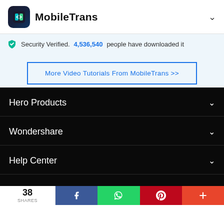MobileTrans
Security Verified. 4,536,540 people have downloaded it
More Video Tutorials From MobileTrans >>
Hero Products
Wondershare
Help Center
Group member
38 SHARES